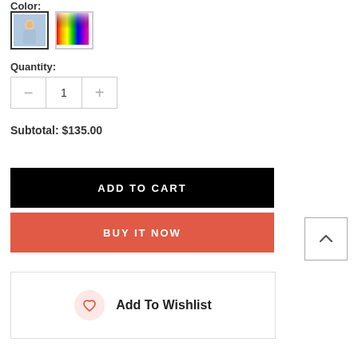Color:
[Figure (photo): Two color swatches: one showing a woman in a light blue dress, one showing a rainbow/multicolor gradient swatch]
Quantity:
[Figure (other): Quantity selector with minus button, value 1, and plus button]
Subtotal: $135.00
ADD TO CART
BUY IT NOW
Add To Wishlist
[Figure (other): Back to top arrow button in top right]